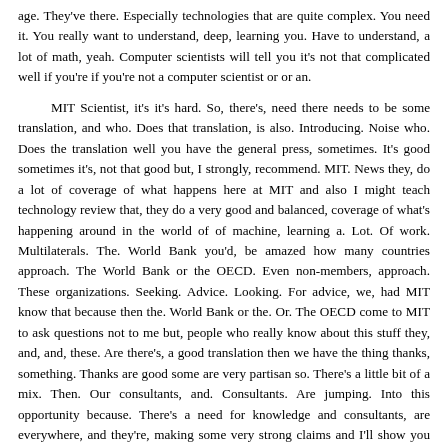age. They've there. Especially technologies that are quite complex. You need it. You really want to understand, deep, learning you. Have to understand, a lot of math, yeah. Computer scientists will tell you it's not that complicated well if you're if you're not a computer scientist or or an.

MIT Scientist, it's it's hard. So, there's, need there needs to be some translation, and who. Does that translation, is also. Introducing. Noise who. Does the translation well you have the general press, sometimes. It's good sometimes it's, not that good but, I strongly, recommend. MIT. News they, do a lot of coverage of what happens here at MIT and also I might teach technology review that, they do a very good and balanced, coverage of what's happening around in the world of of machine, learning a. Lot. Of work. Multilaterals. The. World Bank you'd, be amazed how many countries approach. The World Bank or the OECD. Even non-members, approach. These organizations. Seeking. Advice. Looking. For advice, we, had MIT know that because then the. World Bank or the. Or. The OECD come to MIT to ask questions not to me but, people who really know about this stuff they, and, and, these. Are there's, a good translation then we have the thing thanks, something. Thanks are good some are very partisan so. There's a little bit of a mix. Then. Our consultants, and. Consultants. Are jumping. Into this opportunity because. There's a need for knowledge and consultants, are everywhere, and they're, making some very strong claims and I'll show you one in, a minute and, then of course one. Of the biggest sources of this. Translation, of knowledge are. The tech companies which. Is good because the tech companies are very strong in their knowledge but. The problem is that they are not unbiased they, have an interest they might have a conflict of interest in trying to influence. Through. The through. Knowledge spreading. Actual. Policies. And. Finally. There's a language gap. There's. A lot, there's. A lot of hype, a lot, of buzzwords, a. Lot, of things that. People. Write in there in the, correct context in the original, papers. Or essays and, make sense but, taking out of context just don't make alot